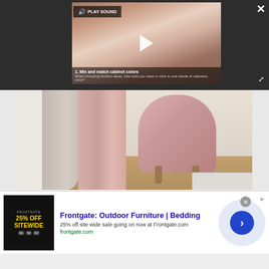[Figure (screenshot): Dark UI overlay with video thumbnail showing kitchen scene, play button, PLAY SOUND button, close X button, and expand button. Caption reads '1. Mix and match cabinet colors - When choosing kitchen ideas, who said you need to stick to one shade of cabinetry color?']
[Figure (photo): Interior room photo showing pink velvet chair with wooden legs, light curtains, hardwood floor, white door frame and baseboard]
[Figure (screenshot): Advertisement banner for Frontgate: Outdoor Furniture | Bedding. Shows '25% off site wide sale going on now at Frontgate.com' with frontgate.com URL, dark ad image showing '25% OFF SITEWIDE', close button, arrow button, and AdChoices icon]